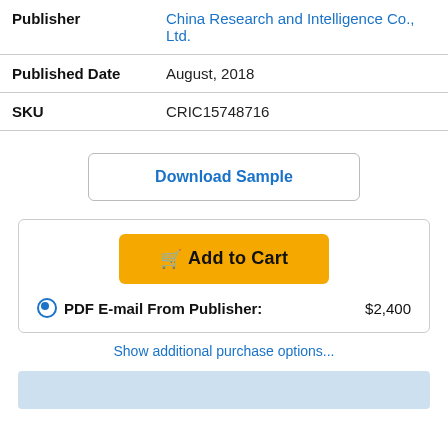| Publisher | China Research and Intelligence Co., Ltd. |
| Published Date | August, 2018 |
| SKU | CRIC15748716 |
Download Sample
Add to Cart
PDF E-mail From Publisher: $2,400
Show additional purchase options...